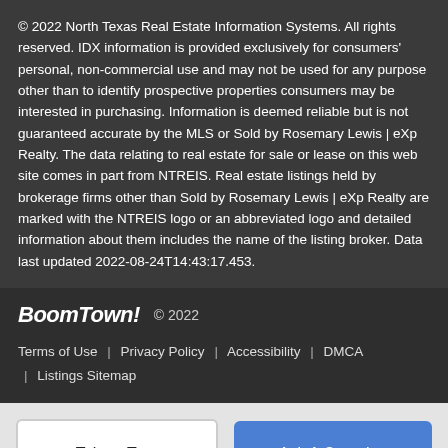© 2022 North Texas Real Estate Information Systems. All rights reserved. IDX information is provided exclusively for consumers' personal, non-commercial use and may not be used for any purpose other than to identify prospective properties consumers may be interested in purchasing. Information is deemed reliable but is not guaranteed accurate by the MLS or Sold by Rosemary Lewis | eXp Realty. The data relating to real estate for sale or lease on this web site comes in part from NTREIS. Real estate listings held by brokerage firms other than Sold by Rosemary Lewis | eXp Realty are marked with the NTREIS logo or an abbreviated logo and detailed information about them includes the name of the listing broker. Data last updated 2022-08-24T14:43:17.453.
BoomTown! © 2022
Terms of Use | Privacy Policy | Accessibility | DMCA | Listings Sitemap
Take a Tour
Ask A Question